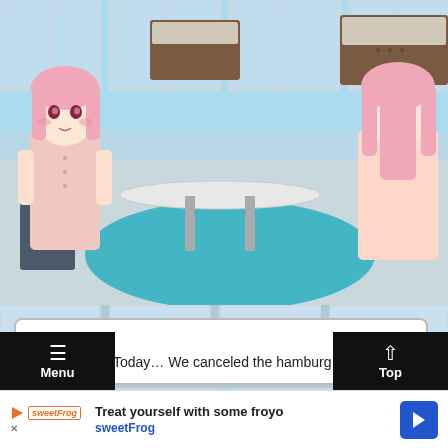[Figure (screenshot): Visual novel game screenshot showing two anime characters with pink hair in a hospital/dormitory room. One character faces forward wearing pink pajamas, the other is turned away in pink casual clothes.]
Ah… Er…
A-actually…! Today… We canceled the hamburg steak!
[Figure (screenshot): Second visual novel game scene showing the same hospital/dormitory room with the pink-haired girl in school uniform (gray with red bow) on the right side.]
Menu
Top
Treat yourself with some froyo
sweetFrog